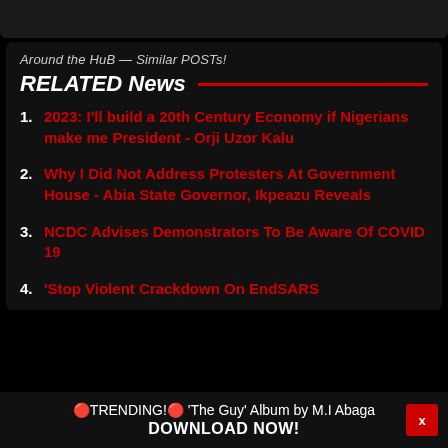Around the HuB — Similar POSTs!
RELATED News
2023: I'll build a 20th Century Economy if Nigerians make me President - Orji Uzor Kalu
Why I Did Not Address Protesters At Government House - Abia State Governor, Ikpeazu Reveals
NCDC Advises Demonstrators To Be Aware Of COVID 19
'Stop Violent Crackdown On EndSARS
🔴TRENDING!🔴 'The Guy' Album by M.I Abaga DOWNLOAD NOW!